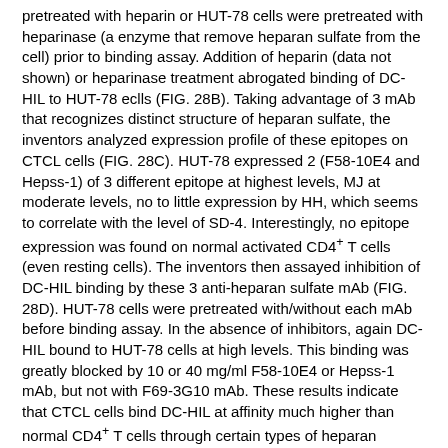pretreated with heparin or HUT-78 cells were pretreated with heparinase (a enzyme that remove heparan sulfate from the cell) prior to binding assay. Addition of heparin (data not shown) or heparinase treatment abrogated binding of DC-HIL to HUT-78 eclls (FIG. 28B). Taking advantage of 3 mAb that recognizes distinct structure of heparan sulfate, the inventors analyzed expression profile of these epitopes on CTCL cells (FIG. 28C). HUT-78 expressed 2 (F58-10E4 and Hepss-1) of 3 different epitope at highest levels, MJ at moderate levels, no to little expression by HH, which seems to correlate with the level of SD-4. Interestingly, no epitope expression was found on normal activated CD4+ T cells (even resting cells). The inventors then assayed inhibition of DC-HIL binding by these 3 anti-heparan sulfate mAb (FIG. 28D). HUT-78 cells were pretreated with/without each mAb before binding assay. In the absence of inhibitors, again DC-HIL bound to HUT-78 cells at high levels. This binding was greatly blocked by 10 or 40 mg/ml F58-10E4 or Hepss-1 mAb, but not with F69-3G10 mAb. These results indicate that CTCL cells bind DC-HIL at affinity much higher than normal CD4+ T cells through certain types of heparan sulfates.
TCL-associated SD-4 responds to DC-HIL's inhibitory function by blocking secretion of IL-2 without blocking the entry to cell cycle. The inventors next examined whether SD-4 on CTCL cells is sensitive to DC-HIL's inhibitory function (FIGS. 29A-B). HUT-78 or HH (SD-4-control) cells were cultured in immobilized anti-CD3 Ab (increasing doses) plus DC-HIL-Fc or control Ig (a constant dose). Activation was assessed by IL-2 production (for HUT-78